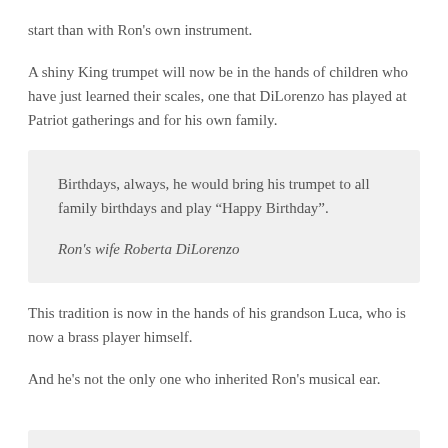start than with Ron's own instrument.
A shiny King trumpet will now be in the hands of children who have just learned their scales, one that DiLorenzo has played at Patriot gatherings and for his own family.
Birthdays, always, he would bring his trumpet to all family birthdays and play “Happy Birthday”.

Ron’s wife Roberta DiLorenzo
This tradition is now in the hands of his grandson Luca, who is now a brass player himself.
And he's not the only one who inherited Ron's musical ear.